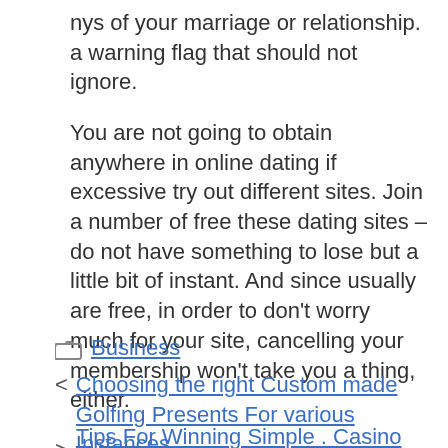nys of your marriage or relationship. a warning flag that should not ignore.
You are not going to obtain anywhere in online dating if excessive try out different sites. Join a number of free these dating sites – do not have something to lose but a little bit of instant. And since usually are free, in order to don't worry much for your site, cancelling your membership won't take you a thing, either.
Business
Choosing the right Custom made Golfing Presents For various Instances
Tips For Winning Simple . Casino Games